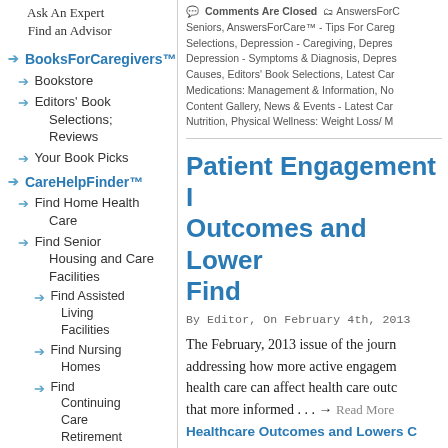Find an Advisor
BooksForCaregivers™
Bookstore
Editors' Book Selections; Reviews
Your Book Picks
CareHelpFinder™
Find Home Health Care
Find Senior Housing and Care Facilities
Find Assisted Living Facilities
Find Nursing Homes
Find Continuing Care Retirement
Comments Are Closed  AnswersForCare Seniors, AnswersForCare™ - Tips For Caregiving Selections, Depression - Caregiving, Depression - Symptoms & Diagnosis, Depression - Causes, Editors' Book Selections, Latest Care Medications: Management & Information, News Content Gallery, News & Events - Latest Care Nutrition, Physical Wellness: Weight Loss/ M
Patient Engagement Improves Outcomes and Lowers Costs: Find
By Editor, On February 4th, 2013
The February, 2013 issue of the journal addressing how more active engagement health care can affect health care outcomes that more informed . . . → Read More: Patient Engagement Improves Healthcare Outcomes and Lowers Costs: Find
[Figure (other): Share/Save social sharing button with Facebook, Twitter, and Google icons]